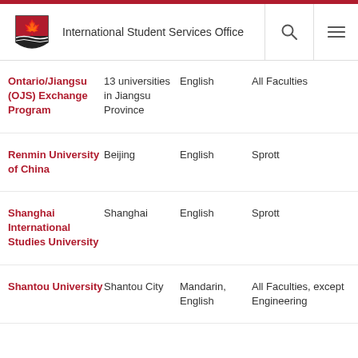International Student Services Office
| Program/University | Location | Language | Faculty |
| --- | --- | --- | --- |
| Ontario/Jiangsu (OJS) Exchange Program | 13 universities in Jiangsu Province | English | All Faculties |
| Renmin University of China | Beijing | English | Sprott |
| Shanghai International Studies University | Shanghai | English | Sprott |
| Shantou University | Shantou City | Mandarin, English | All Faculties, except Engineering |